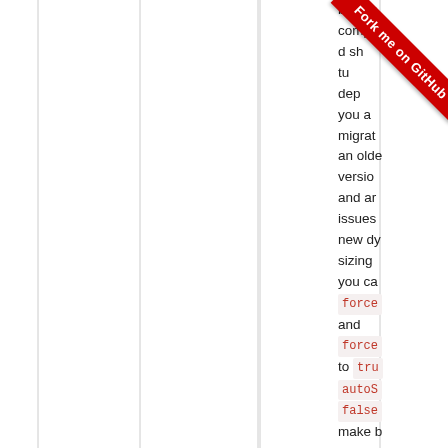[Figure (other): Red 'Fork me on GitHub' ribbon banner in the top-right corner]
backw compat d sh tu dep you a migrat an olde versio and ar issues new dy sizing you ca force and force to tru autoS false make b behav